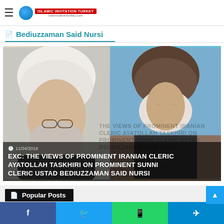Islamic Invitation Turkey
Bediuzzaman Said Nursi
[Figure (photo): Two clerics — a photo of an Iranian cleric in white turban and glasses on the left, and a painting/portrait of Bediuzzaman Said Nursi on the right, with text overlay of the article title in the background]
11/04/2019 — EXC: THE VIEWS OF PROMINENT IRANIAN CLERIC AYATOLLAH TASKHIRI ON PROMINENT SUNNI CLERIC USTAD BEDIUZZAMAN SAID NURSI
Popular Posts
ALLAH-U AKBAR!: At Least 80 Satanic US
Facebook Twitter WhatsApp Telegram